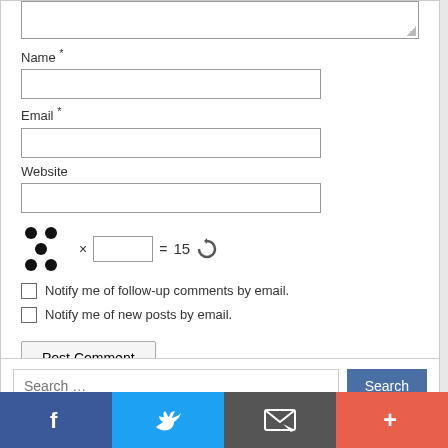[Figure (screenshot): Textarea stub at top of comment form]
Name *
[Figure (screenshot): Name text input field]
Email *
[Figure (screenshot): Email text input field]
Website
[Figure (screenshot): Website text input field]
[Figure (screenshot): CAPTCHA: dot image × input box = 15 with refresh icon]
Notify me of follow-up comments by email.
Notify me of new posts by email.
[Figure (screenshot): Post Comment button]
[Figure (screenshot): Search bar with Search button]
[Figure (screenshot): Social media bar: Facebook, Twitter, Email, Plus]